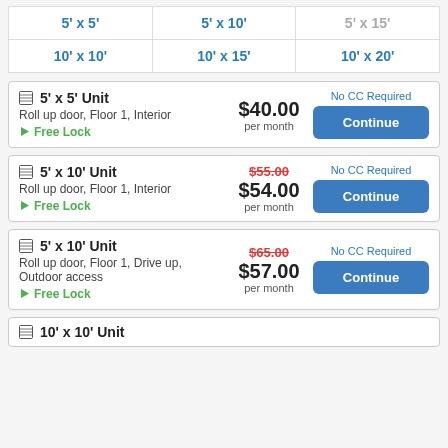| 5' x 5' | 5' x 10' | 5' x 15' |
| 10' x 10' | 10' x 15' | 10' x 20' |
5' x 5' Unit
Roll up door, Floor 1, Interior
Free Lock
$40.00 per month
No CC Required
Continue
5' x 10' Unit
Roll up door, Floor 1, Interior
Free Lock
$55.00 $54.00 per month
No CC Required
Continue
5' x 10' Unit
Roll up door, Floor 1, Drive up, Outdoor access
Free Lock
$65.00 $57.00 per month
No CC Required
Continue
10' x 10' Unit